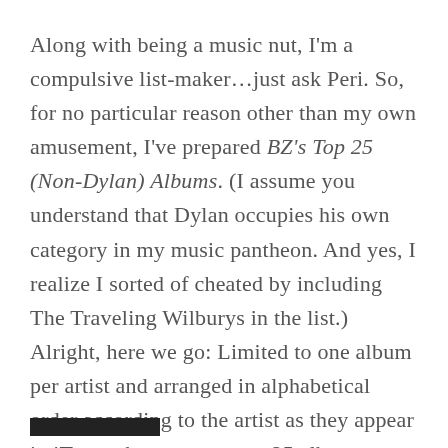Along with being a music nut, I'm a compulsive list-maker…just ask Peri. So, for no particular reason other than my own amusement, I've prepared BZ's Top 25 (Non-Dylan) Albums. (I assume you understand that Dylan occupies his own category in my music pantheon. And yes, I realize I sorted of cheated by including The Traveling Wilburys in the list.) Alright, here we go: Limited to one album per artist and arranged in alphabetical order according to the artist as they appear in iTunes, here are my top 25 albums...